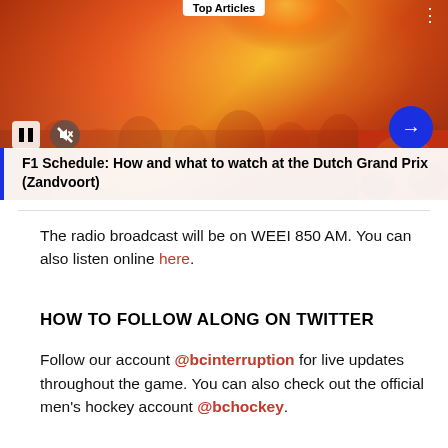[Figure (screenshot): A media player card showing a crowd of F1 racing fans in orange, with a 'Top Articles' label at the top, pause and mute controls, a blue arrow button, and an article title overlay reading 'F1 Schedule: How and what to watch at the Dutch Grand Prix (Zandvoort)']
The radio broadcast will be on WEEI 850 AM. You can also listen online here.
HOW TO FOLLOW ALONG ON TWITTER
Follow our account @bcinterruption for live updates throughout the game. You can also check out the official men's hockey account @bchockey.